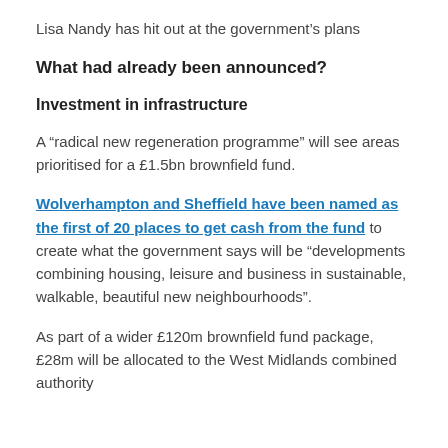Lisa Nandy has hit out at the government's plans
What had already been announced?
Investment in infrastructure
A “radical new regeneration programme” will see areas prioritised for a £1.5bn brownfield fund.
Wolverhampton and Sheffield have been named as the first of 20 places to get cash from the fund to create what the government says will be “developments combining housing, leisure and business in sustainable, walkable, beautiful new neighbourhoods”.
As part of a wider £120m brownfield fund package, £28m will be allocated to the West Midlands combined authority